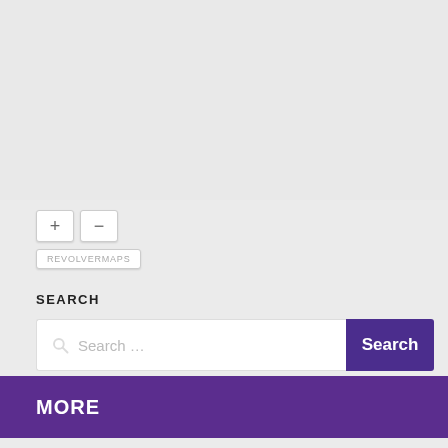[Figure (other): Interactive map widget placeholder with zoom controls and REVOLVERMAPS branding button]
SEARCH
Search …
MORE
NEXT STORY
Tarleton hides Faculty Senate Survey results